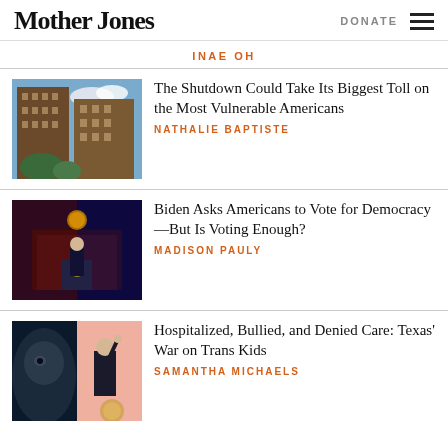Mother Jones
DONATE
INAE OH
[Figure (photo): Exterior of tall brick apartment buildings against a blue sky with trees]
The Shutdown Could Take Its Biggest Toll on the Most Vulnerable Americans
NATHALIE BAPTISTE
[Figure (photo): President Biden speaking at a podium with red and blue lighting]
Biden Asks Americans to Vote for Democracy—But Is Voting Enough?
MADISON PAULY
[Figure (photo): A dark-skinned person's face close up on the left, and a man in a suit pointing upward on a pink background on the right]
Hospitalized, Bullied, and Denied Care: Texas' War on Trans Kids
SAMANTHA MICHAELS